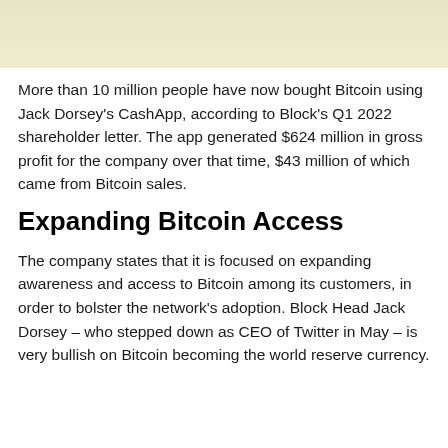[Figure (photo): Top portion of an image with a light cream/beige background, partially visible.]
More than 10 million people have now bought Bitcoin using Jack Dorsey's CashApp, according to Block's Q1 2022 shareholder letter. The app generated $624 million in gross profit for the company over that time, $43 million of which came from Bitcoin sales.
Expanding Bitcoin Access
The company states that it is focused on expanding awareness and access to Bitcoin among its customers, in order to bolster the network's adoption. Block Head Jack Dorsey – who stepped down as CEO of Twitter in May – is very bullish on Bitcoin becoming the world reserve currency.